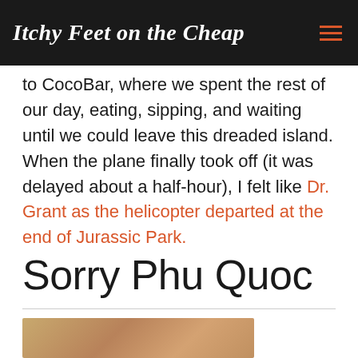Itchy Feet on the Cheap
to CocoBar, where we spent the rest of our day, eating, sipping, and waiting until we could leave this dreaded island. When the plane finally took off (it was delayed about a half-hour), I felt like Dr. Grant as the helicopter departed at the end of Jurassic Park.
Sorry Phu Quoc
[Figure (photo): Partial view of a photo at the bottom of the page, showing warm brown/tan tones, partial image cut off]